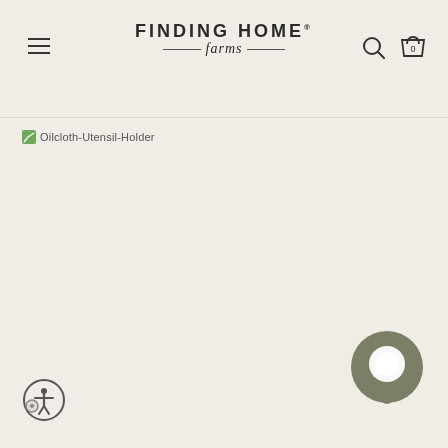[Figure (screenshot): Finding Home Farms website header with hamburger menu on left, logo in center, search and cart icons on right]
Oilcloth-Utensil-Holder
[Figure (other): Chat support button (circular dark olive button with chat bubble icon) in bottom right corner]
[Figure (other): Accessibility/settings circular button in bottom left corner]